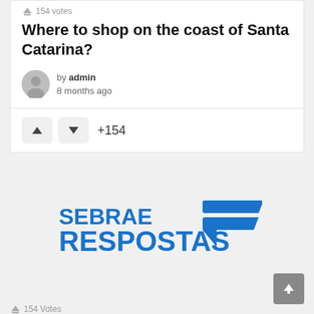154 votes
Where to shop on the coast of Santa Catarina?
by admin
8 months ago
+154
[Figure (logo): SEBRAE RESPOSTAS logo in blue with speech bubble icon]
154 Votes